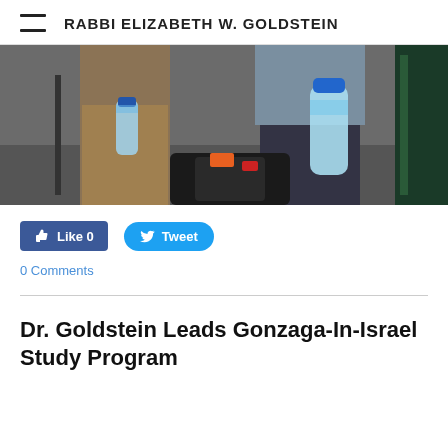RABBI ELIZABETH W. GOLDSTEIN
[Figure (photo): Photo of two people standing, one in olive/tan pants holding a small water bottle, another in dark jeans holding a large water bottle, with luggage on the ground between them]
👍 Like 0   Tweet
0 Comments
Dr. Goldstein Leads Gonzaga-In-Israel Study Program